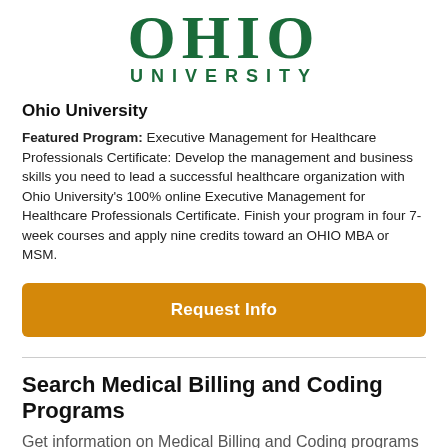[Figure (logo): Ohio University logo with OHIO in large green serif letters and UNIVERSITY in smaller green spaced capitals below]
Ohio University
Featured Program: Executive Management for Healthcare Professionals Certificate: Develop the management and business skills you need to lead a successful healthcare organization with Ohio University's 100% online Executive Management for Healthcare Professionals Certificate. Finish your program in four 7-week courses and apply nine credits toward an OHIO MBA or MSM.
Request Info
Search Medical Billing and Coding Programs
Get information on Medical Billing and Coding programs by entering your zip code and request